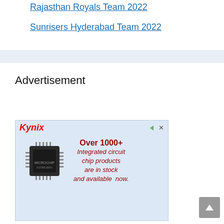Rajasthan Royals Team 2022
Sunrisers Hyderabad Team 2022
Advertisement
[Figure (screenshot): Kynix advertisement banner showing a microchip (Microchip branded IC) with text 'Over 1000+ Integrated circuit chip products are in stock and available now.' on a light blue background. Top left has red italic Kynix logo, top right has ad icons.]